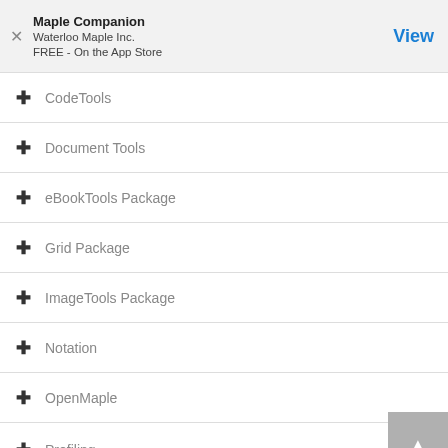Maple Companion
Waterloo Maple Inc.
FREE - On the App Store
CodeTools
Document Tools
eBookTools Package
Grid Package
ImageTools Package
Notation
OpenMaple
Profiling
Debugging